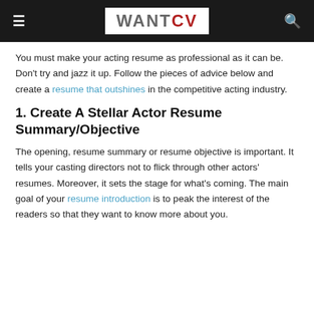WANTCV
You must make your acting resume as professional as it can be. Don't try and jazz it up. Follow the pieces of advice below and create a resume that outshines in the competitive acting industry.
1. Create A Stellar Actor Resume Summary/Objective
The opening, resume summary or resume objective is important. It tells your casting directors not to flick through other actors' resumes. Moreover, it sets the stage for what's coming. The main goal of your resume introduction is to peak the interest of the readers so that they want to know more about you.